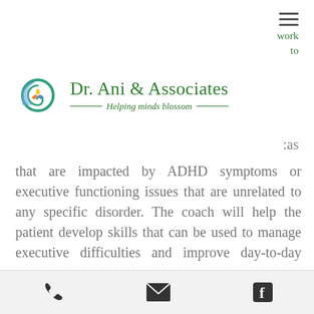[Figure (logo): Dr. Ani & Associates logo with stylized head/brain icon and tagline 'Helping minds blossom']
work to
as that are impacted by ADHD symptoms or executive functioning issues that are unrelated to any specific disorder. The coach will help the patient develop skills that can be used to manage executive difficulties and improve day-to-day functioning and overall well-being.  Strategies may include techniques for parents to use to manage their child's
[phone icon] [email icon] [facebook icon]